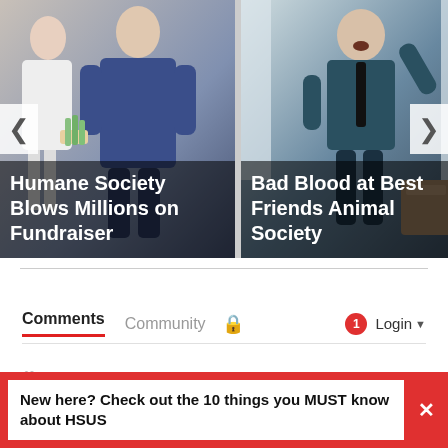[Figure (photo): Carousel with two article cards. Left card: man in blue suit holding cash behind his back, titled 'Humane Society Blows Millions on Fundraiser'. Right card: man in dark suit yelling/gesturing, titled 'Bad Blood at Best Friends Animal Society'.]
Comments   Community   🔒   1   Login ▾
♡ Favorite   Sort by Best ▾
New here? Check out the 10 things you MUST know about HSUS